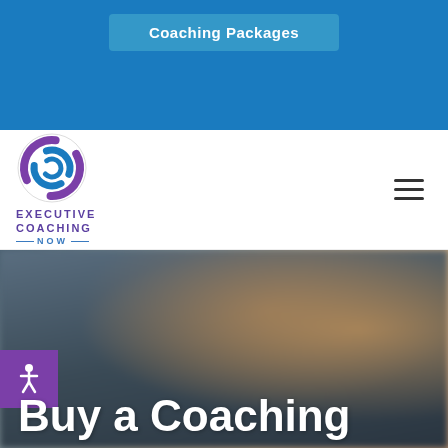Coaching Packages
[Figure (logo): Executive Coaching Now logo with stylized circular icon in purple and blue, company name below]
[Figure (photo): Blurred background photo of a woman with blonde hair, used as hero image]
Buy a Coaching
We use cookies to ensure that we give you the best experience on our website. If you continue to use this site we will assume that you are happy with it.
Accept
Privacy policy